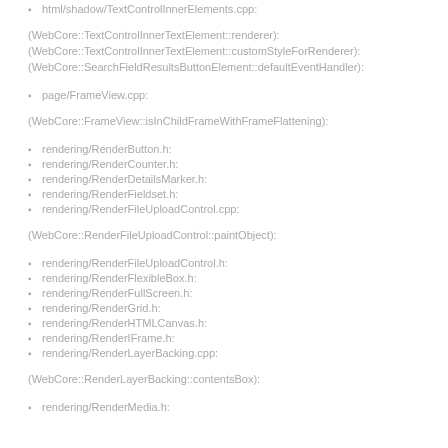html/shadow/TextControlInnerElements.cpp:
(WebCore::TextControlInnerTextElement::renderer):
(WebCore::TextControlInnerTextElement::customStyleForRenderer):
(WebCore::SearchFieldResultsButtonElement::defaultEventHandler):
page/FrameView.cpp:
(WebCore::FrameView::isInChildFrameWithFrameFlattening):
rendering/RenderButton.h:
rendering/RenderCounter.h:
rendering/RenderDetailsMarker.h:
rendering/RenderFieldset.h:
rendering/RenderFileUploadControl.cpp:
(WebCore::RenderFileUploadControl::paintObject):
rendering/RenderFileUploadControl.h:
rendering/RenderFlexibleBox.h:
rendering/RenderFullScreen.h:
rendering/RenderGrid.h:
rendering/RenderHTMLCanvas.h:
rendering/RenderIFrame.h:
rendering/RenderLayerBacking.cpp:
(WebCore::RenderLayerBacking::contentsBox):
rendering/RenderMedia.h: